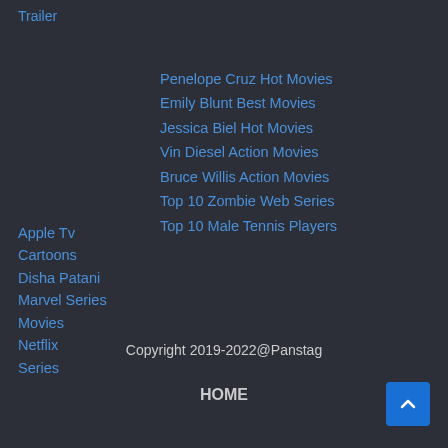Trailer
Penelope Cruz Hot Movies
Emily Blunt Best Movies
Jessica Biel Hot Movies
Vin Diesel Action Movies
Bruce Willis Action Movies
Top 10 Zombie Web Series
Top 10 Male Tennis Players
Apple Tv
Cartoons
Disha Patani
Marvel Series
Movies
Netflix
Series
Copyright 2019-2022@Panstag
HOME